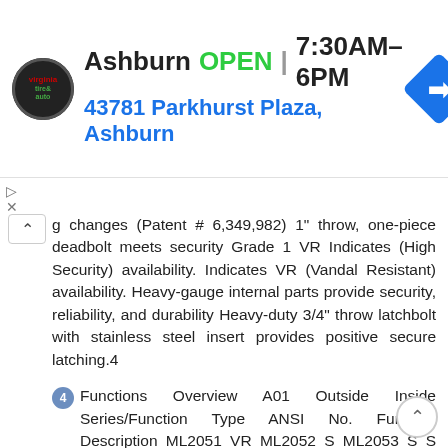[Figure (screenshot): Ad banner for Virginia Tire & Auto, Ashburn location. Shows logo, OPEN status, hours 7:30AM–6PM, address 43781 Parkhurst Plaza, Ashburn, and navigation icon.]
g changes (Patent # 6,349,982) 1" throw, one-piece deadbolt meets security Grade 1 VR Indicates (High Security) availability. Indicates VR (Vandal Resistant) availability. Heavy-gauge internal parts provide security, reliability, and durability Heavy-duty 3/4" throw latchbolt with stainless steel insert provides positive secure latching.4
4 Functions Overview A01 Outside Inside Series/Function Type ANSI No. Function Description ML2051 VR ML2052 S ML2053 S S Entrance or Office Classroom Intruder Entrance or Office F04 F32 Latchbolt by key when outside grip locked by toggle action stop. Latchbolt by grip either side, unless outside grip is locked by toggle-action stop. Latchbolt by grip either side, unless outside grip is locked by key either side. Latchbolt by key when outside grip locked. Outside grip remains locked unless unlocked by key.